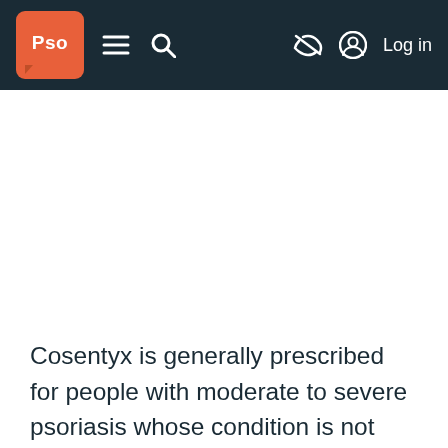Pso [logo] — Navigation bar with menu, search, hide, and Log in
Cosentyx is generally prescribed for people with moderate to severe psoriasis whose condition is not controlled well enough by other types of medications, and who need to